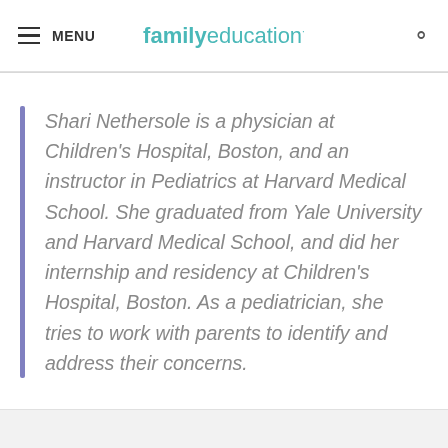MENU | familyeducation
Shari Nethersole is a physician at Children's Hospital, Boston, and an instructor in Pediatrics at Harvard Medical School. She graduated from Yale University and Harvard Medical School, and did her internship and residency at Children's Hospital, Boston. As a pediatrician, she tries to work with parents to identify and address their concerns.